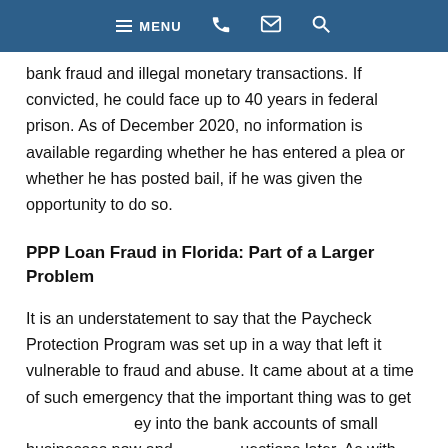MENU
bank fraud and illegal monetary transactions. If convicted, he could face up to 40 years in federal prison. As of December 2020, no information is available regarding whether he has entered a plea or whether he has posted bail, if he was given the opportunity to do so.
PPP Loan Fraud in Florida: Part of a Larger Problem
It is an understatement to say that the Paycheck Protection Program was set up in a way that left it vulnerable to fraud and abuse. It came about at a time of such emergency that the important thing was to get money into the bank accounts of small businesses now and questions later. As with much business funding, the rules were lenient enough that business owners could spend most of the money on payroll, rent, and utilities, and